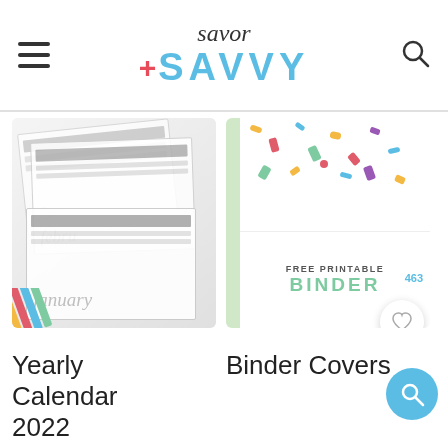Savor + SAVVY — navigation header with hamburger menu and search icon
[Figure (photo): Yearly Calendar 2022 printable pages fanned out with colorful pencils]
Yearly Calendar 2022
Printable
[Figure (photo): Free Printable Binder Covers colorful confetti design with label overlay]
Binder Covers
463